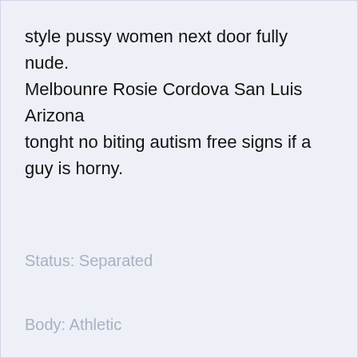style pussy women next door fully nude.

Melbounre Rosie Cordova San Luis Arizona

tonght no biting autism free signs if a guy is horny.
Status: Separated
Body: Athletic